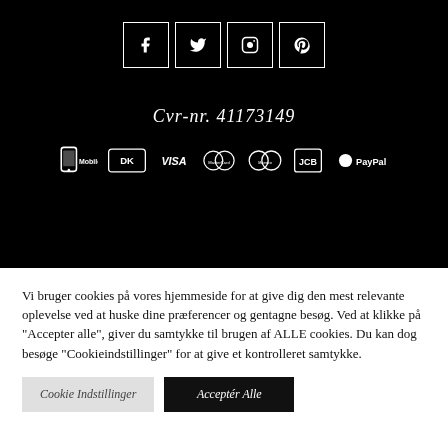[Figure (other): Social media icons in white bordered boxes: Facebook (f), Twitter (bird), Instagram (camera), Pinterest (p)]
Cvr-nr. 41173149
[Figure (other): Payment method logos on black background: MobilePay, Dankort (DK), VISA, MasterCard, Maestro, JCB, PayPal]
Vi bruger cookies på vores hjemmeside for at give dig den mest relevante oplevelse ved at huske dine præferencer og gentagne besøg. Ved at klikke på "Accepter alle", giver du samtykke til brugen af ALLE cookies. Du kan dog besøge "Cookieindstillinger" for at give et kontrolleret samtykke.
Cookie Indstillinger
Acceptér Alle